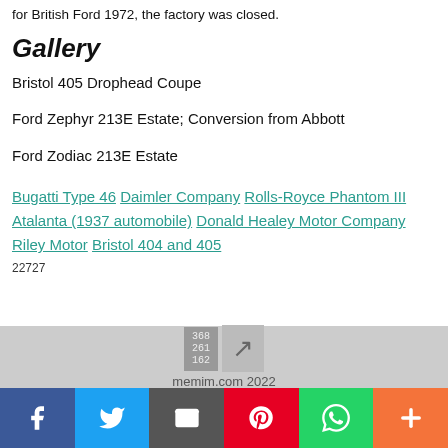for British Ford 1972, the factory was closed.
Gallery
Bristol 405 Drophead Coupe
Ford Zephyr 213E Estate; Conversion from Abbott
Ford Zodiac 213E Estate
Bugatti Type 46 Daimler Company Rolls-Royce Phantom III Atalanta (1937 automobile) Donald Healey Motor Company Riley Motor Bristol 404 and 405
22727
memim.com 2022